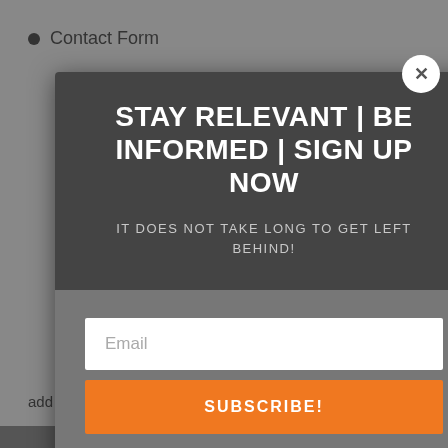Contact Form
STAY RELEVANT | BE INFORMED | SIGN UP NOW
IT DOES NOT TAKE LONG TO GET LEFT BEHIND!
[Figure (screenshot): Email input field with placeholder text 'Email']
SUBSCRIBE!
add this class: mp_row_1